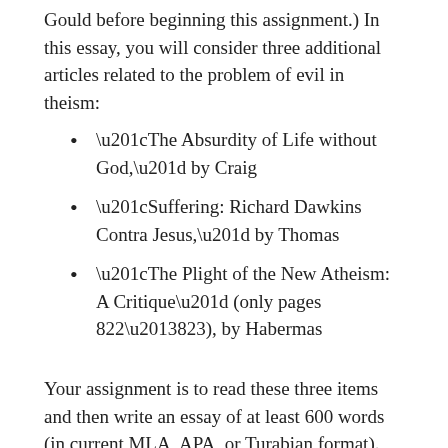Gould before beginning this assignment.) In this essay, you will consider three additional articles related to the problem of evil in theism:
“The Absurdity of Life without God,” by Craig
“Suffering: Richard Dawkins Contra Jesus,” by Thomas
“The Plight of the New Atheism: A Critique” (only pages 822–823), by Habermas
Your assignment is to read these three items and then write an essay of at least 600 words (in current MLA, APA, or Turabian format). While you are free to quote from sources, and you must cite at minimum the 3 above readings, quotations will not count towards the minimum word count. Your